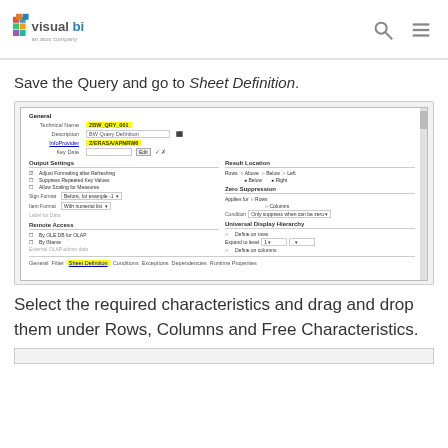visualbi - an atos company
Save the Query and go to Sheet Definition.
[Figure (screenshot): Screenshot of a software query/sheet definition dialog with fields for Technical Name, Description, InfoProvider, Key Date, Output Settings, Result Location, Zero Suppression, Universal Display Hierarchy, Remote Access sections. Yellow highlights on Technical Name value and InfoProvider value. Tab row at bottom shows Sheet Definition tab highlighted.]
Select the required characteristics and drag and drop them under Rows, Columns and Free Characteristics.